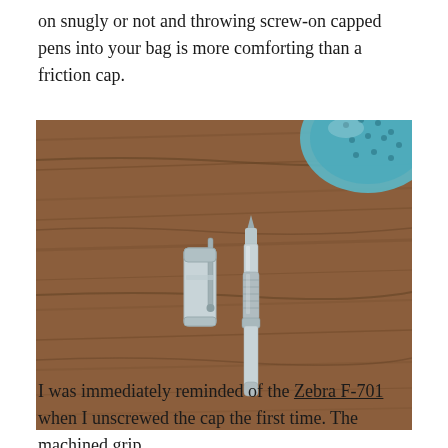on snugly or not and throwing screw-on capped pens into your bag is more comforting than a friction cap.
[Figure (photo): A pen with its cap removed, both pieces lying on a wooden surface. The cap is on the left and the pen body with nib is on the right. A decorative blue bowl is partially visible in the upper right corner.]
I was immediately reminded of the Zebra F-701 when I unscrewed the cap the first time. The machined grip